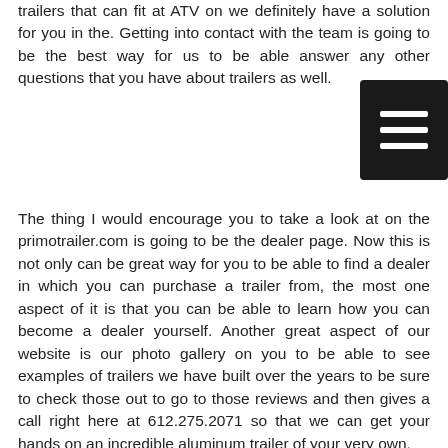trailers that can fit at ATV on we definitely have a solution for you in the. Getting into contact with the team is going to be the best way for us to be able answer any other questions that you have about trailers as well.
The thing I would encourage you to take a look at on the primotrailer.com is going to be the dealer page. Now this is not only can be great way for you to be able to find a dealer in which you can purchase a trailer from, the most one aspect of it is that you can be able to learn how you can become a dealer yourself. Another great aspect of our website is our photo gallery on you to be able to see examples of trailers we have built over the years to be sure to check those out to go to those reviews and then gives a call right here at 612.275.2071 so that we can get your hands on an incredible aluminum trailer of your very own.